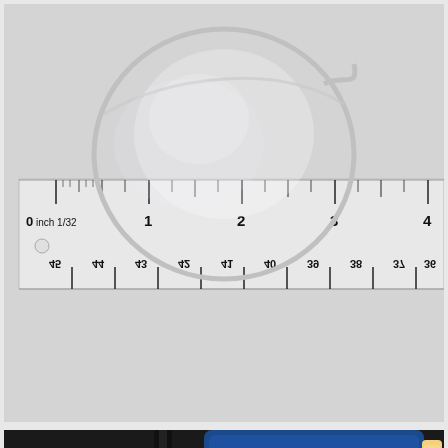[Figure (photo): A silver/metallic open cuff bangle bracelet placed on a ruler showing inches (0 to about 4 inches visible) on the top side and millimeters (36 to 45 visible) on the bottom side, upside down. The bracelet spans approximately 2.5 inches in diameter. Background is light gray.]
[Figure (photo): A blue digital caliper/measuring device with a digital display showing '37', partially visible at the bottom of the image. Black cable visible on the left side.]